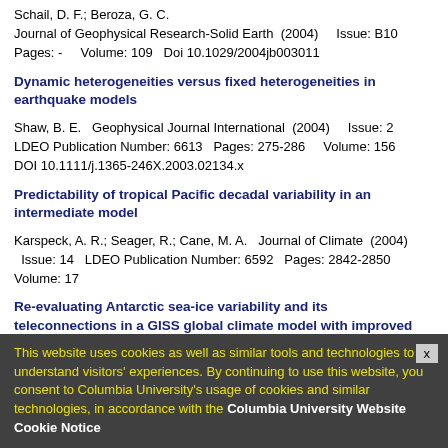Schail, D. F.; Beroza, G. C.
Journal of Geophysical Research-Solid Earth  (2004)    Issue: B10
Pages: -    Volume: 109  Doi 10.1029/2004jb003011
Dynamic heterogeneities versus fixed heterogeneities in earthquake models
Shaw, B. E.  Geophysical Journal International  (2004)    Issue: 2
LDEO Publication Number: 6613  Pages: 275-286    Volume: 156
DOI 10.1111/j.1365-246X.2003.02134.x
Predictability of tropical Pacific decadal variability in an intermediate model
Karspeck, A. R.; Seager, R.; Cane, M. A.  Journal of Climate  (2004)
  Issue: 14  LDEO Publication Number: 6592  Pages: 2842-2850
Volume: 17
Re-evaluating Antarctic sea-ice variability and its teleconnections in a GISS global climate model with improved
This website uses cookies as well as similar tools and technologies to understand visitors' experiences. By continuing to use this website, you consent to Columbia University's usage of cookies and similar technologies, in accordance with the Columbia University Website Cookie Notice